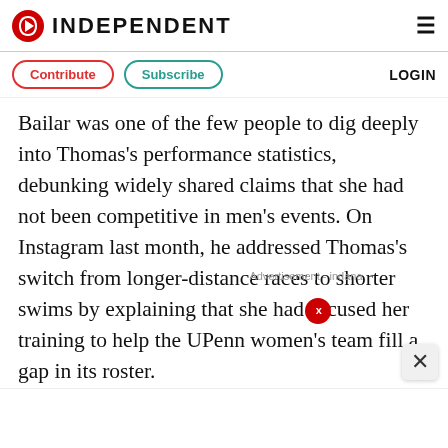INDEPENDENT
Contribute   Subscribe   LOGIN
Bailar was one of the few people to dig deeply into Thomas's performance statistics, debunking widely shared claims that she had not been competitive in men's events. On Instagram last month, he addressed Thomas's switch from longer-distance races to shorter swims by explaining that she had focused her training to help the UPenn women's team fill a gap in its roster.